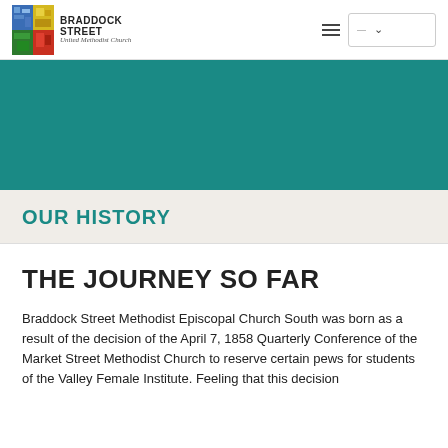Braddock Street United Methodist Church — navigation header with logo, hamburger menu, and dropdown
[Figure (other): Teal/green hero banner image area]
OUR HISTORY
THE JOURNEY SO FAR
Braddock Street Methodist Episcopal Church South was born as a result of the decision of the April 7, 1858 Quarterly Conference of the Market Street Methodist Church to reserve certain pews for students of the Valley Female Institute. Feeling that this decision